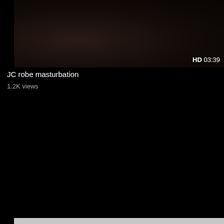[Figure (screenshot): Dark video thumbnail showing a dimly lit scene with HD badge and duration 03:39 in bottom right corner]
JC robe masturbation
1.2K views
[Figure (screenshot): Light gray video thumbnail (loading/placeholder) with HD badge and duration 14:05 in bottom right corner]